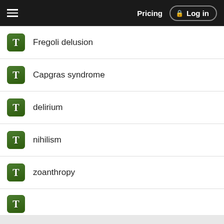Pricing   Log in
Fregoli delusion
Capgras syndrome
delirium
nihilism
zoanthropy
Want to read the entire topic?
Purchase a subscription
I'm already a subscriber
Browse sample topics